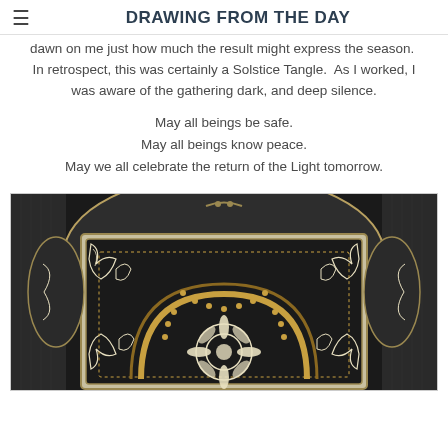DRAWING FROM THE DAY
dawn on me just how much the result might express the season. In retrospect, this was certainly a Solstice Tangle. As I worked, I was aware of the gathering dark, and deep silence.
May all beings be safe.
May all beings know peace.
May we all celebrate the return of the Light tomorrow.
[Figure (photo): Close-up photograph of an ornate decorative tile or medallion featuring intricate black and gold zentangle/mandala patterns on a dark background with white and gold flourishes, set against a dark textured fabric background.]